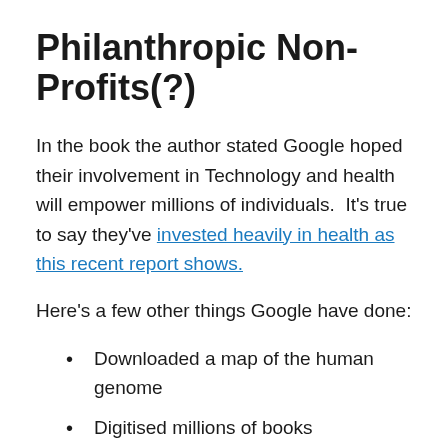Philanthropic Non-Profits(?)
In the book the author stated Google hoped their involvement in Technology and health will empower millions of individuals.  It's true to say they've invested heavily in health as this recent report shows.
Here's a few other things Google have done:
Downloaded a map of the human genome
Digitised millions of books